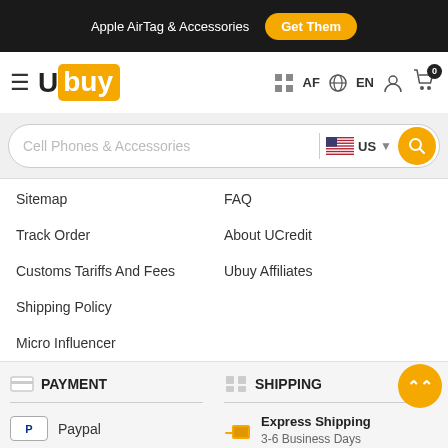Apple AirTag & Accessories  Get Them
[Figure (logo): Ubuy logo with hamburger menu and navigation icons (AF, EN, user, cart with badge 0)]
[Figure (screenshot): Search bar with placeholder 'Cell Phones & Accessories', US flag dropdown, and yellow search button]
Sitemap
FAQ
Track Order
About UCredit
Customs Tariffs And Fees
Ubuy Affiliates
Shipping Policy
Micro Influencer
PAYMENT
SHIPPING
Paypal
Visa
Express Shipping  3-6 Business Days
Standard Shipping  10+ Business Days